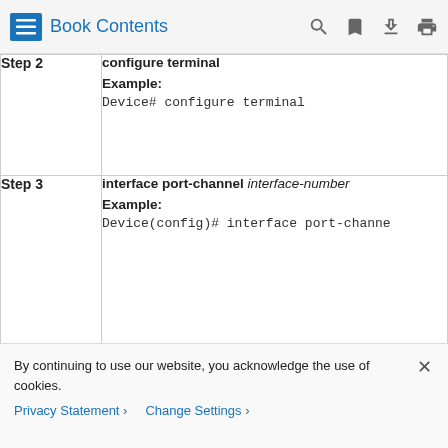Book Contents
| Step | Command / Description |
| --- | --- |
| Step 2 | configure terminal
Example:
Device# configure terminal |
| Step 3 | interface port-channel interface-number
Example:
Device(config)# interface port-channe |
| Step 4 | encapsulation dot1q vlan-id  second-dot1q second- |
By continuing to use our website, you acknowledge the use of cookies.
Privacy Statement > Change Settings >